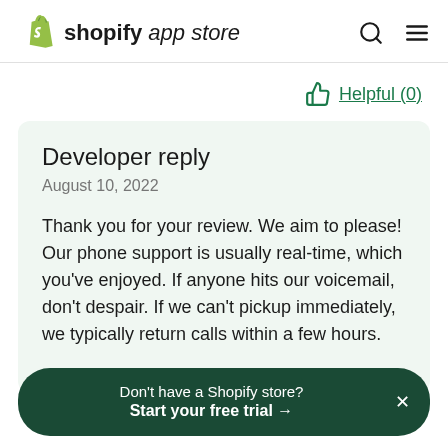shopify app store
Helpful (0)
Developer reply
August 10, 2022
Thank you for your review. We aim to please! Our phone support is usually real-time, which you've enjoyed. If anyone hits our voicemail, don't despair. If we can't pickup immediately, we typically return calls within a few hours.
Don't have a Shopify store? Start your free trial →